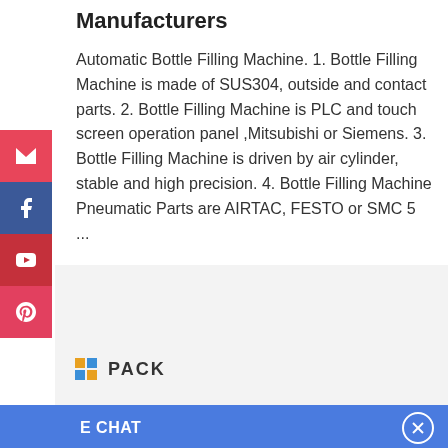Manufacturers
Automatic Bottle Filling Machine. 1. Bottle Filling Machine is made of SUS304, outside and contact parts. 2. Bottle Filling Machine is PLC and touch screen operation panel ,Mitsubishi or Siemens. 3. Bottle Filling Machine is driven by air cylinder, stable and high precision. 4. Bottle Filling Machine Pneumatic Parts are AIRTAC, FESTO or SMC 5 ...
[Figure (logo): BN PACK logo with colored squares]
E CHAT
[Figure (photo): Chat widget with avatar of woman named Cilina and chat bubble saying Hi,welcome to visit our website.]